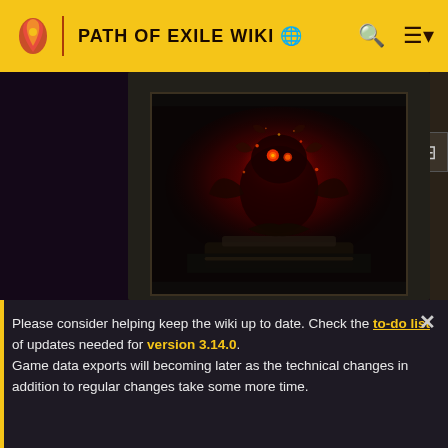PATH OF EXILE WIKI
[Figure (screenshot): Path of Exile game screenshot showing a dark red glowing creature/boss with ornate design on a dark background — Racecourse Map Atlas of Worlds area screenshot]
File:Racecourse Map (Atlas of Worlds) area screenshot.jpg
Please consider helping keep the wiki up to date. Check the to-do list of updates needed for version 3.14.0. Game data exports will becoming later as the technical changes in addition to regular changes take some more time.